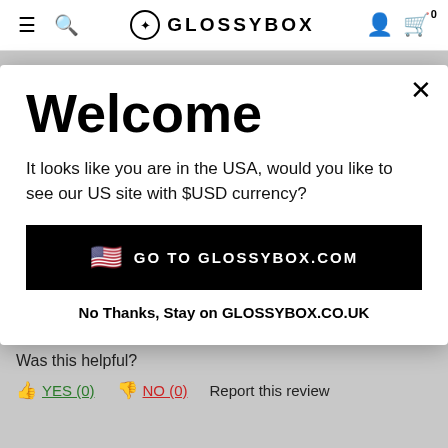GLOSSYBOX navigation bar with hamburger menu, search, logo, user icon, and cart (0)
Top Customer Reviews
Where reviews refer to foods or cosmetic
Welcome
It looks like you are in the USA, would you like to see our US site with $USD currency?
🇺🇸  GO TO GLOSSYBOX.COM
No Thanks, Stay on GLOSSYBOX.CO.UK
Was this helpful?
👍 YES (0)
👎 NO (0)
Report this review